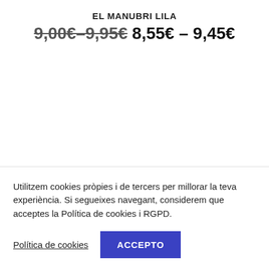EL MANUBRI LILA
9,00€–9,95€ 8,55€ – 9,45€
Utilitzem cookies pròpies i de tercers per millorar la teva experiència. Si segueixes navegant, considerem que acceptes la Política de cookies i RGPD.
Política de cookies
ACCEPTO